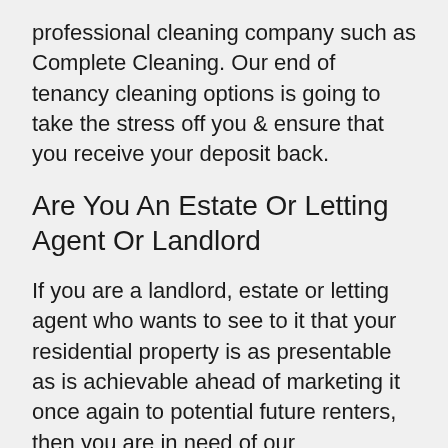professional cleaning company such as Complete Cleaning. Our end of tenancy cleaning options is going to take the stress off you & ensure that you receive your deposit back.
Are You An Estate Or Letting Agent Or Landlord
If you are a landlord, estate or letting agent who wants to see to it that your residential property is as presentable as is achievable ahead of marketing it once again to potential future renters, then you are in need of our professional End of Tenancy cleaning team. Our expert End of Tenancy cleaners are frequently trained & well prepared so that we have the ability to deliver a complete “spring clean” at the end of each and every tenancy which will make certain that your